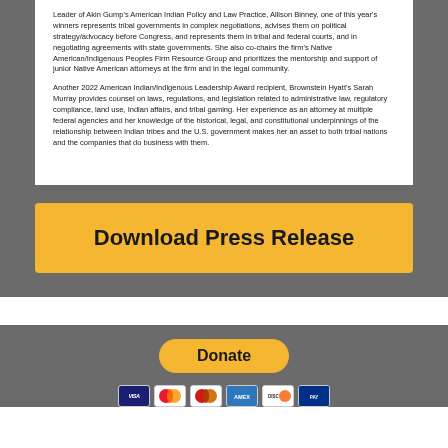Leader of Akin Gump's American Indian Policy and Law Practice, Allison Binney, one of this year's winners represents tribal governments in complex negotiations, advises them on political strategy/advocacy before Congress, and represents them in tribal and federal courts, and in negotiating agreements with state governments. She also co-chairs the firm's Native American/Indigenous Peoples Firm Resource Group and prioritizes the mentorship and support of junior Native American attorneys at the firm and in the legal community.
Another 2022 American Indian/Indigenous Leadership Award recipient, Brownstein Hyatt's Sarah Murray provides counsel on laws, regulations, and legislation related to administrative law, regulatory compliance, land use, Indian affairs, and tribal gaming. Her experience as an attorney at multiple federal agencies and her knowledge of the historical, legal, and constitutional underpinnings of the relationship between Indian tribes and the U.S. government makes her an asset to both tribal nations and the companies that do business with them.
Download Press Release
Donate